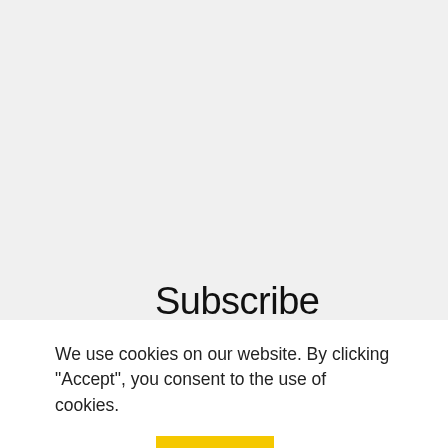Subscribe
We use cookies on our website. By clicking "Accept", you consent to the use of cookies.
Read More
Accept